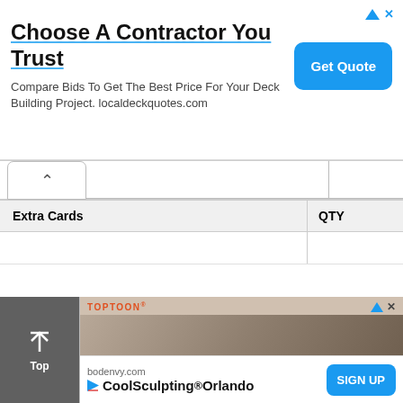[Figure (infographic): Advertisement banner: 'Choose A Contractor You Trust — Compare Bids To Get The Best Price For Your Deck Building Project. localdeckquotes.com' with a blue 'Get Quote' button.]
| Extra Cards | QTY |
| --- | --- |
|   |   |
4-1: Aporia / No Hope Left / Hard / Turbo Duel
Use Yusei
Inflict 5000 Damage
Use LV10 or higher monster 1 time
[Figure (infographic): Advertisement for TOPTOON showing anime characters (two figures with dark hair).]
[Figure (infographic): Advertisement for bodenvy.com: 'CoolSculpting® Orlando' with a blue 'SIGN UP' button.]